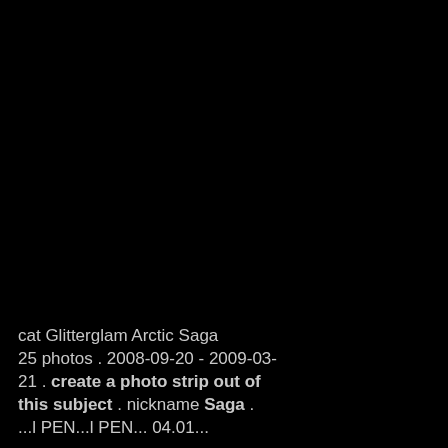[Figure (photo): Mostly black image, likely a dark photograph with very little visible content]
cat Glitterglam Arctic Saga
25 photos . 2008-09-20 - 2009-03-21 . create a photo strip out of this subject . nickname Saga . ...l PEN...l PEN... 04.01...